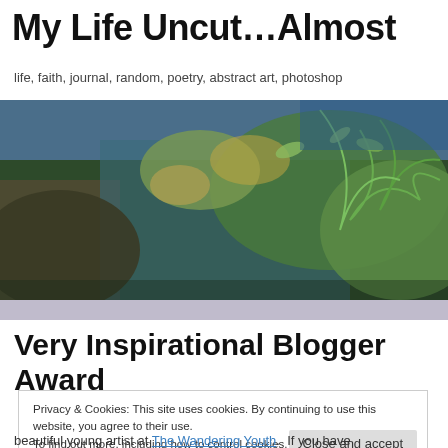My Life Uncut…Almost
life, faith, journal, random, poetry, abstract art, photoshop
[Figure (photo): Outdoor nature photo showing lush green ferns and autumn foliage with blue tones in the background, used as a blog header banner image.]
Very Inspirational Blogger Award
Privacy & Cookies: This site uses cookies. By continuing to use this website, you agree to their use.
To find out more, including how to control cookies, see here: Cookie Policy
[Close and accept button]
beautiful young artist at The Wandering Youth.  If you have